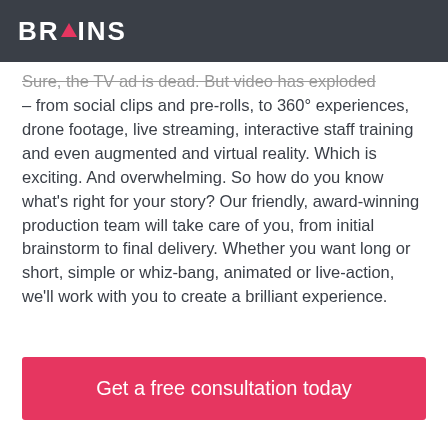BRAINS
Sure, the TV ad is dead. But video has exploded – from social clips and pre-rolls, to 360° experiences, drone footage, live streaming, interactive staff training and even augmented and virtual reality. Which is exciting. And overwhelming. So how do you know what's right for your story? Our friendly, award-winning production team will take care of you, from initial brainstorm to final delivery. Whether you want long or short, simple or whiz-bang, animated or live-action, we'll work with you to create a brilliant experience.
Get a free consultation today